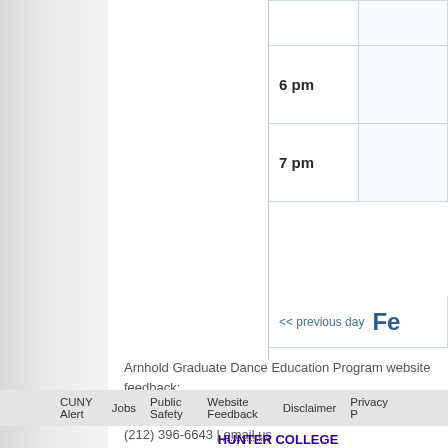| Time | Event |
| --- | --- |
|  |  |
| 6 pm |  |
| 7 pm |  |
<< previous day   Fe
Arnhold Graduate Dance Education Program website feedback:
520 Thomas Hunter Hall
(212) 396-6643 | email us
CUNY Alert   Jobs   Public Safety   Website Feedback   Disclaimer   Privacy P...
HUNTER COLLEGE
695 Park Ave
NY, NY 10065
212.772.4000